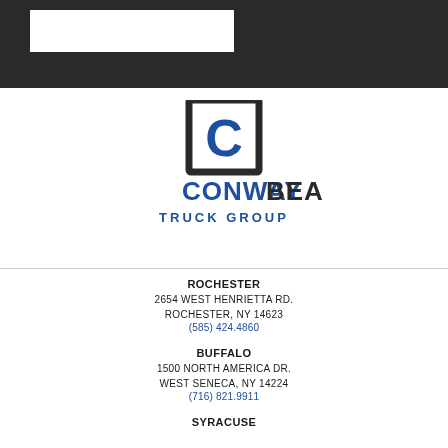[Figure (logo): Conway Beam Truck Group logo - a blue C letter in a dark square bracket icon above the company name in blue and dark text with TRUCK GROUP below]
ROCHESTER
2654 WEST HENRIETTA RD.
ROCHESTER, NY 14623
(585) 424.4860
BUFFALO
1500 NORTH AMERICA DR.
WEST SENECA, NY 14224
(716) 821.9911
SYRACUSE